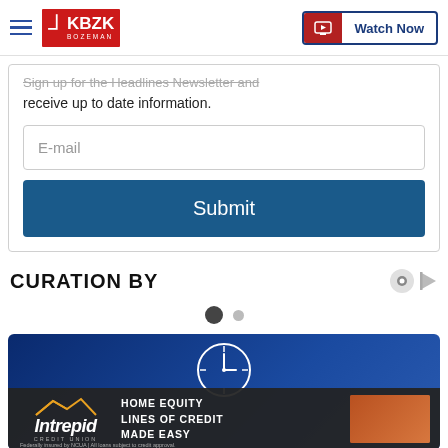KBZK Bozeman | Watch Now
Sign up for the Headlines Newsletter and receive up to date information.
E-mail
Submit
CURATION BY
[Figure (other): Carousel dot indicators: one filled dark circle and one smaller grey circle]
[Figure (other): Advertisement banner for Intrepid Credit Union: Home Equity Lines of Credit Made Easy. Dark overlay with mountain logo, clock graphic on blue background, and photo of person doing home improvement work.]